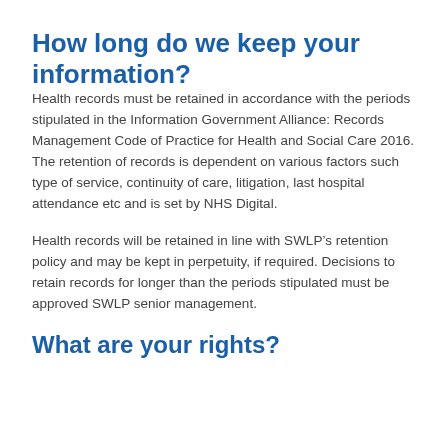How long do we keep your information?
Health records must be retained in accordance with the periods stipulated in the Information Government Alliance: Records Management Code of Practice for Health and Social Care 2016. The retention of records is dependent on various factors such type of service, continuity of care, litigation, last hospital attendance etc and is set by NHS Digital.
Health records will be retained in line with SWLP’s retention policy and may be kept in perpetuity, if required. Decisions to retain records for longer than the periods stipulated must be approved SWLP senior management.
What are your rights?